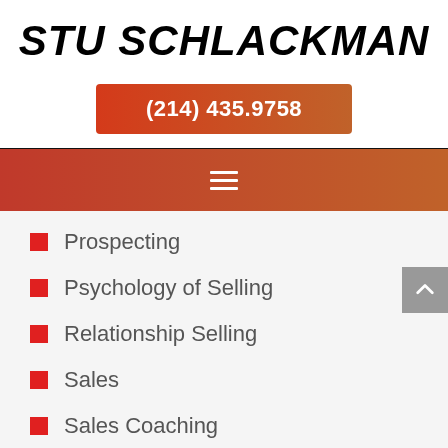STU SCHLACKMAN
(214) 435.9758
[Figure (other): Navigation bar with hamburger menu icon, gradient red to orange-brown background]
Prospecting
Psychology of Selling
Relationship Selling
Sales
Sales Coaching
Sales Culture
Sales Strategy